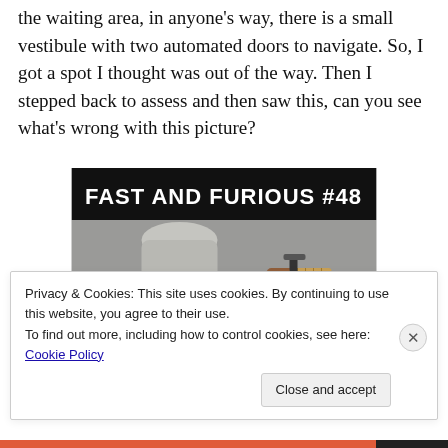the waiting area, in anyone's way, there is a small vestibule with two automated doors to navigate. So, I got a spot I thought was out of the way. Then I stepped back to assess and then saw this, can you see what's wrong with this picture?
[Figure (photo): Photo of mobility scooters parked in what appears to be an office waiting area, with the caption overlay 'FAST AND FURIOUS #48' in white bold text on a black banner across the top of the image.]
Privacy & Cookies: This site uses cookies. By continuing to use this website, you agree to their use.
To find out more, including how to control cookies, see here: Cookie Policy